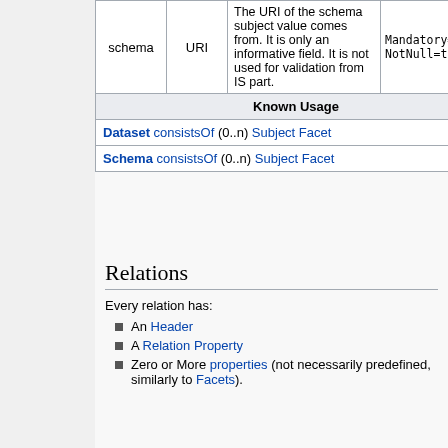|  |  | Description | Constraints |
| --- | --- | --- | --- |
| schema | URI | The URI of the schema subject value comes from. It is only an informative field. It is not used for validation from IS part. | Mandatory=true
NotNull=true |
| Known Usage |
| --- |
| Dataset consistsOf (0..n) Subject Facet |
| Schema consistsOf (0..n) Subject Facet |
Relations
Every relation has:
An Header
A Relation Property
Zero or More properties (not necessarily predefined, similarly to Facets).